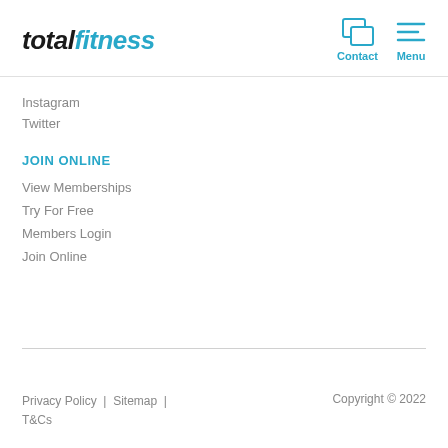totalfitness — Contact | Menu
Instagram
Twitter
JOIN ONLINE
View Memberships
Try For Free
Members Login
Join Online
Privacy Policy | Sitemap | T&Cs   Copyright © 2022